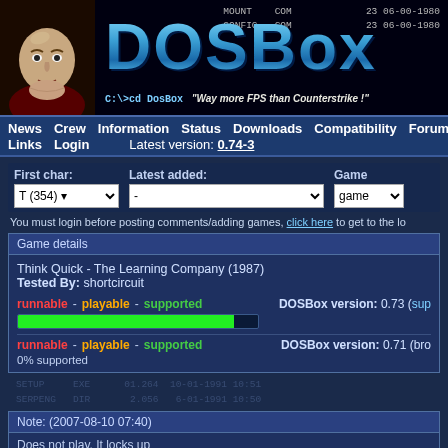[Figure (screenshot): DOSBox website header banner with villain character on left, DOSBox logo in center, DOS command text on right]
News  Crew  Information  Status  Downloads  Compatibility  Forum
Links  Login    Latest version: 0.74-3
First char:   Latest added:   Game
T (354) [dropdown]   - [dropdown]   game [dropdown]
You must login before posting comments/adding games, click here to get to the lo
Game details
Think Quick - The Learning Company (1987)
Tested By: shortcircuit
runnable - playable - supported    DOSBox version: 0.73 (sup
runnable - playable - supported    DOSBox version: 0.71 (bro
0% supported
SETUP.EXE  01.264  10-01-1991 10:51
SERPENG.DIR  2.056  6-01-1991 10:50
Note: (2007-08-10 07:40)
Does not play. It locks up